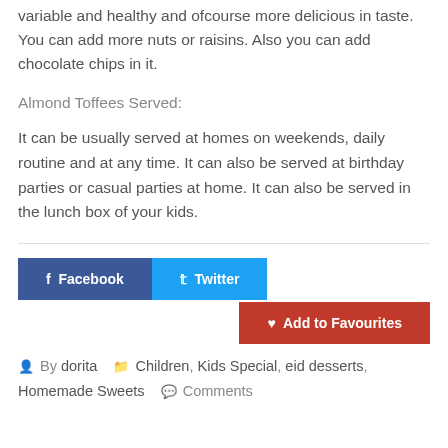variable and healthy and ofcourse more delicious in taste. You can add more nuts or raisins. Also you can add chocolate chips in it.
Almond Toffees Served:
It can be usually served at homes on weekends, daily routine and at any time. It can also be served at birthday parties or casual parties at home. It can also be served in the lunch box of your kids.
Facebook  Twitter  Add to Favourites
By dorita  Children, Kids Special, eid desserts, Homemade Sweets  Comments